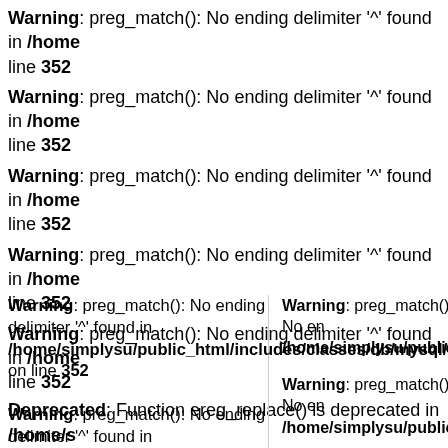Warning: preg_match(): No ending delimiter '^' found in /home/... line 352
Warning: preg_match(): No ending delimiter '^' found in /home/... line 352
Warning: preg_match(): No ending delimiter '^' found in /home/... line 352
Warning: preg_match(): No ending delimiter '^' found in /home/... line 352
Warning: preg_match(): No ending delimiter '^' found in /home/... line 352
Deprecated: Function ereg_replace() is deprecated in /home/s...
Home > Fabric > Americana
Warning: preg_match(): No ending delimiter '^' found in /home/simplysu/public_html/includes/classes/db/mysql/q... on line 352
Warning: preg_match(): No ending delimiter '^' found in /home/simplysu/public_html/... on line 352
Warning: preg_match(): No en... /home/simplysu/public_html...
Warning: preg_match(): No ending delimiter '^' found in